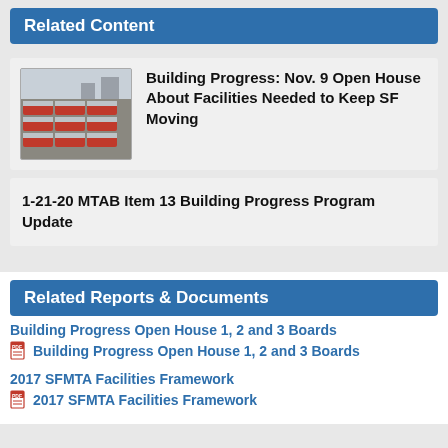Related Content
Building Progress: Nov. 9 Open House About Facilities Needed to Keep SF Moving
1-21-20 MTAB Item 13 Building Progress Program Update
Related Reports & Documents
Building Progress Open House 1, 2 and 3 Boards
Building Progress Open House 1, 2 and 3 Boards
2017 SFMTA Facilities Framework
2017 SFMTA Facilities Framework